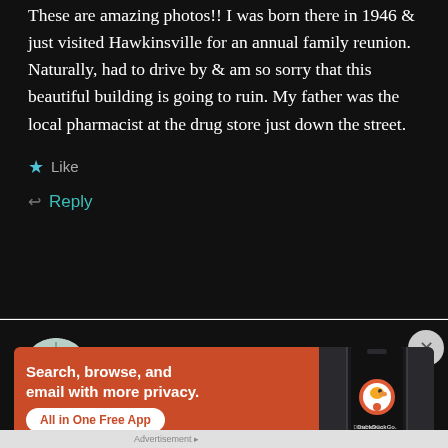These are amazing photos!! I was born there in 1946 & just visited Hawkinsville for an annual family reunion. Naturally, had to drive by & am so sorry that this beautiful building is going to ruin. My father was the local pharmacist at the drug store just down the street.
★ Like
↩ Reply
LYNN
August 12, 2016 at 12:34 AM
[Figure (illustration): DuckDuckGo advertisement banner: orange background with text 'Search, browse, and email with more privacy. All in One Free App' and a phone image showing the DuckDuckGo app.]